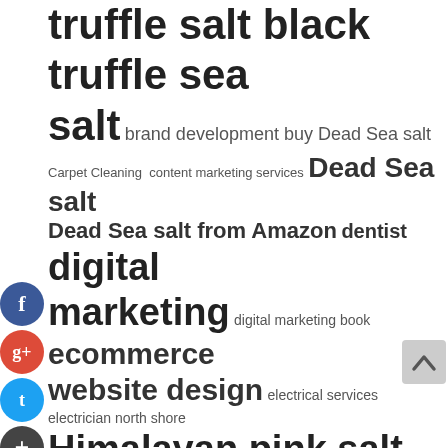[Figure (infographic): Tag cloud / word cloud of SEO and marketing-related keywords displayed at varying font sizes indicating frequency/importance. Includes terms like truffle salt, black truffle sea salt, brand development, buy Dead Sea salt, Carpet Cleaning, content marketing services, Dead Sea salt, Dead Sea salt from Amazon, dentist, digital marketing, digital marketing book, ecommerce website design, electrical services, electrician north shore, Himalayan pink salt, Himalayan salt, law, marijuana seeds online, marketing aesthetics, medical spa seo, med spa marketing, moving and storage services, moving packing service, office, Pink Himalayan salt, Pink salt, pure Dead Sea salt, retractable pool cover, search engine optimization, seo agency, seo book, treadmill, treadmills, truffle salt, truffle sea salt. Social sharing icons (Facebook, Google+, Twitter, Add) appear on the left side. A scroll-to-top button appears bottom right.]